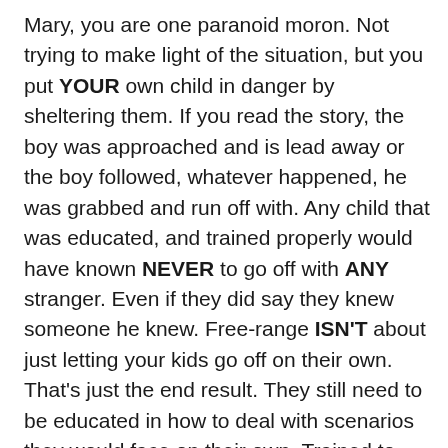Mary, you are one paranoid moron. Not trying to make light of the situation, but you put YOUR own child in danger by sheltering them. If you read the story, the boy was approached and is lead away or the boy followed, whatever happened, he was grabbed and run off with. Any child that was educated, and trained properly would have known NEVER to go off with ANY stranger. Even if they did say they knew someone he knew. Free-range ISN'T about just letting your kids go off on their own. That's just the end result. They still need to be educated in how to deal with scenarios they would face on their own. Trained to never falter from those teachings. I hope you have a A LOT of free time